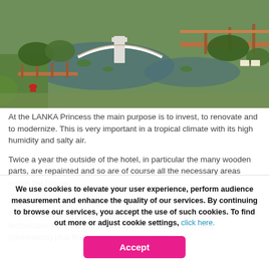[Figure (photo): Aerial view of a hotel garden with a white arched bridge over a pond, surrounded by tropical greenery and wooden walkways.]
At the LANKA Princess the main purpose is to invest, to renovate and to modernize. This is very important in a tropical climate with its high humidity and salty air.
Twice a year the outside of the hotel, in particular the many wooden parts, are repainted and so are of course all the necessary areas inside the house.
Around 80% of the previous electrical devices installed in 1997 have been replaced. This was all planed and installed by professional technicians from Europe. Security for the electrical supply (generators) plus fire detection devices and
We use cookies to elevate your user experience, perform audience measurement and enhance the quality of our services. By continuing to browse our services, you accept the use of such cookies. To find out more or adjust cookie settings, click here.
Accept